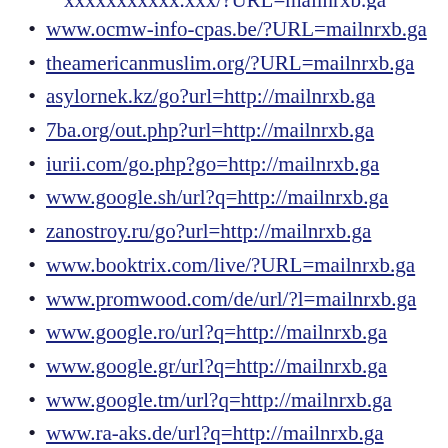www.ocmw-info-cpas.be/?URL=mailnrxb.ga
theamericanmuslim.org/?URL=mailnrxb.ga
asylornek.kz/go?url=http://mailnrxb.ga
7ba.org/out.php?url=http://mailnrxb.ga
iurii.com/go.php?go=http://mailnrxb.ga
www.google.sh/url?q=http://mailnrxb.ga
zanostroy.ru/go?url=http://mailnrxb.ga
www.booktrix.com/live/?URL=mailnrxb.ga
www.promwood.com/de/url/?l=mailnrxb.ga
www.google.ro/url?q=http://mailnrxb.ga
www.google.gr/url?q=http://mailnrxb.ga
www.google.tm/url?q=http://mailnrxb.ga
www.ra-aks.de/url?q=http://mailnrxb.ga
www.google.no/url?q=http://mailnrxb.ga
www.google.la/url?q=http://mailnrxb.ga
www.google.kz/url?q=http://mailnrxb.ga
www.google.as/url?q=http://mailnrxb.ga
www.google.gm/url?q=http://mailnrxb.ga